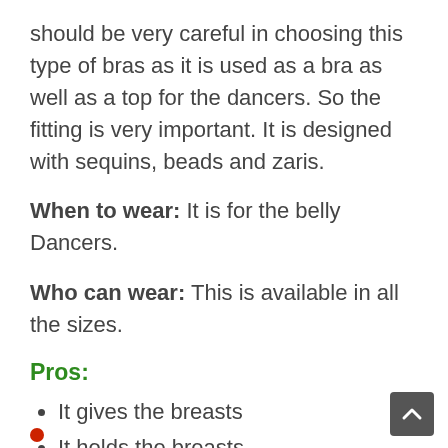should be very careful in choosing this type of bras as it is used as a bra as well as a top for the dancers. So the fitting is very important. It is designed with sequins, beads and zaris.
When to wear: It is for the belly Dancers.
Who can wear: This is available in all the sizes.
Pros:
It gives the breasts
It holds the breasts